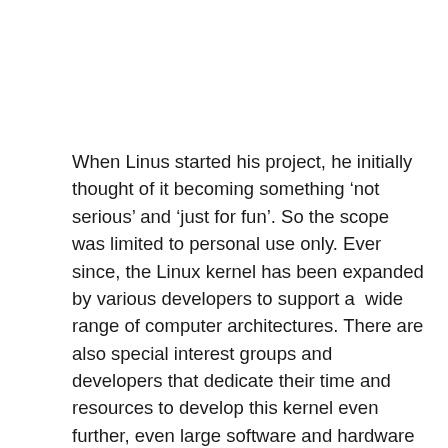When Linus started his project, he initially thought of it becoming something ‘not serious’ and ‘just for fun’. So the scope was limited to personal use only. Ever since, the Linux kernel has been expanded by various developers to support a  wide range of computer architectures. There are also special interest groups and developers that dedicate their time and resources to develop this kernel even further, even large software and hardware companies.
As the interest grew, linux development picked up in pace, and more and more...